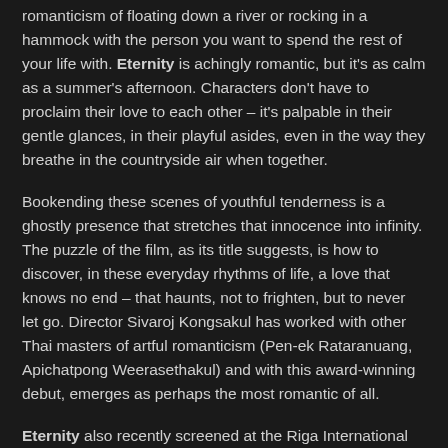romanticism of floating down a river or rocking in a hammock with the person you want to spend the rest of your life with. Eternity is achingly romantic, but it's as calm as a summer's afternoon. Characters don't have to proclaim their love to each other – it's palpable in their gentle glances, in their playful asides, even in the way they breathe in the countryside air when together.
Bookending these scenes of youthful tenderness is a ghostly presence that stretches that innocence into infinity. The puzzle of the film, as its title suggests, is how to discover, in these everyday rhythms of life, a love that knows no end – that haunts, not to frighten, but to never let go. Director Sivaroj Kongsakul has worked with other Thai masters of artful romanticism (Pen-ek Rataranuang, Apichatpong Weerasethakul) and with this award-winning debut, emerges as perhaps the most romantic of all.
Eternity also recently screened at the Riga International